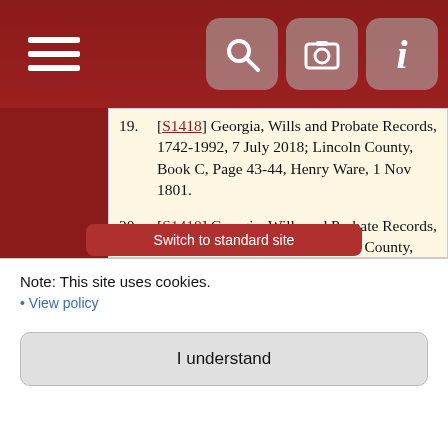Navigation bar with hamburger menu and icons
19. [S1418] Georgia, Wills and Probate Records, 1742-1992, 7 July 2018; Lincoln County, Book C, Page 43-44, Henry Ware, 1 Nov 1801.
20. [S1418] Georgia, Wills and Probate Records, 1742-1992, 7 July 2018; Lincoln County, Book B, Page 134-135, Henry Ware, 6 Mar 1802.
21. [S1418] Georgia, Wills and Probate Records, 1742-1992, 7 July 2018; Lincoln County, BookB, Page 269, Henry Ware, March 1803.
22. [S1388] Lincoln County Genealogy and History (Georgia), p. 218, Will Book A, will book page 42.
23. [S1388] Lincoln County Genealogy and History (Georgia), p. 218.
Note: This site uses cookies.
• View policy
I understand